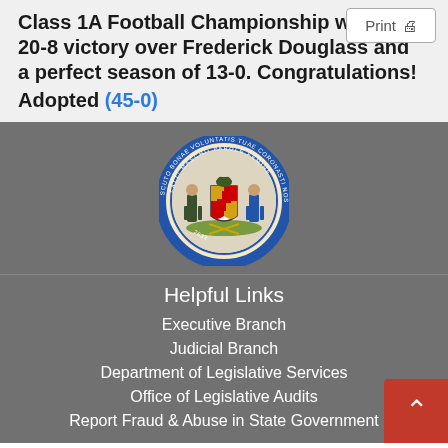Class 1A Football Championship with a 20-8 victory over Frederick Douglass and a perfect season of 13-0. Congratulations!
Adopted (45-0)
[Figure (logo): Maryland State Seal - circular seal with two figures flanking a shield, eagle on top, Latin motto around border, year 1632 at bottom]
Helpful Links
Executive Branch
Judicial Branch
Department of Legislative Services
Office of Legislative Audits
Report Fraud & Abuse in State Government